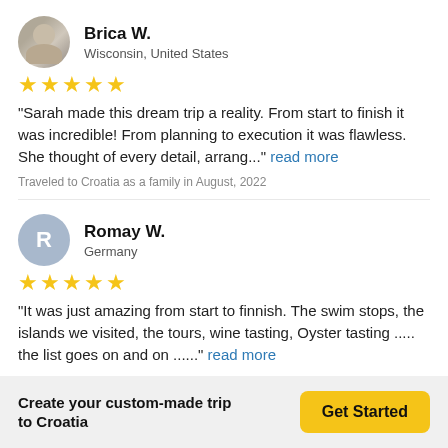Brica W. — Wisconsin, United States
★★★★★
"Sarah made this dream trip a reality. From start to finish it was incredible! From planning to execution it was flawless. She thought of every detail, arrang..." read more
Traveled to Croatia as a family in August, 2022
Romay W. — Germany
★★★★★
"It was just amazing from start to finnish. The swim stops, the islands we visited, the tours, wine tasting, Oyster tasting ..... the list goes on and on ......" read more
Traveled to Croatia as a couple in August, 2022
Create your custom-made trip to Croatia | Get Started